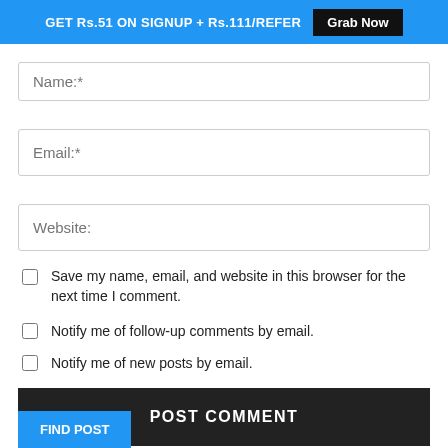GET Rs.51 ON SIGNUP + Rs.111/REFER  Grab Now
Name:*
Email:*
Website:
Save my name, email, and website in this browser for the next time I comment.
Notify me of follow-up comments by email.
Notify me of new posts by email.
POST COMMENT
FIND POST